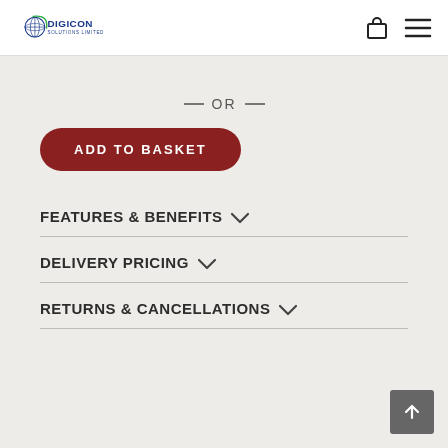Digicon Solutions Limited
— OR —
ADD TO BASKET
FEATURES & BENEFITS
DELIVERY PRICING
RETURNS & CANCELLATIONS